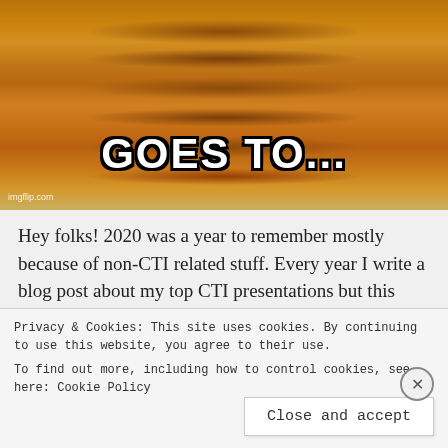[Figure (photo): Stack of pancakes with syrup, meme image with text 'GOES TO...' overlaid at the bottom. Watermark 'imgflip.com' in bottom-left corner.]
Hey folks! 2020 was a year to remember mostly because of non-CTI related stuff. Every year I write a blog post about my top CTI presentations but this time I am a little bit late (aren't we still in 2020
Privacy & Cookies: This site uses cookies. By continuing to use this website, you agree to their use.
To find out more, including how to control cookies, see here: Cookie Policy
Close and accept